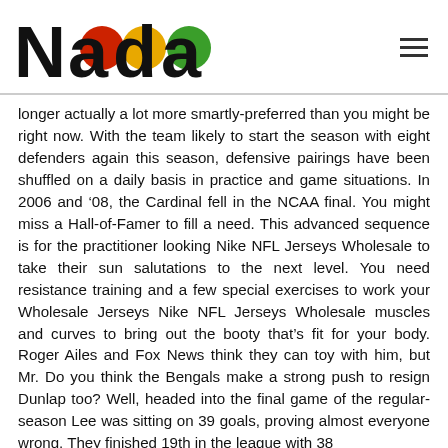Nada [logo with colored circles]
longer actually a lot more smartly-preferred than you might be right now. With the team likely to start the season with eight defenders again this season, defensive pairings have been shuffled on a daily basis in practice and game situations. In 2006 and ‘08, the Cardinal fell in the NCAA final. You might miss a Hall-of-Famer to fill a need. This advanced sequence is for the practitioner looking Nike NFL Jerseys Wholesale to take their sun salutations to the next level. You need resistance training and a few special exercises to work your Wholesale Jerseys Nike NFL Jerseys Wholesale muscles and curves to bring out the booty that’s fit for your body. Roger Ailes and Fox News think they can toy with him, but Mr. Do you think the Bengals make a strong push to resign Dunlap too? Well, headed into the final game of the regular-season Lee was sitting on 39 goals, proving almost everyone wrong. They finished 19th in the league with 38